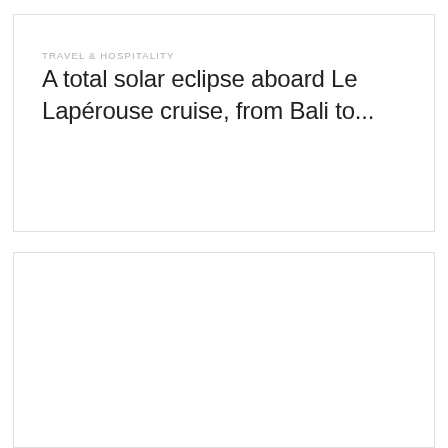TRAVEL & HOSPITALITY
A total solar eclipse aboard Le Lapérouse cruise, from Bali to...